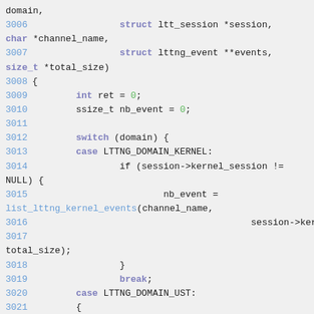Source code listing showing C function lines 3006-3022, including ltt_session struct, lttng_event, switch/case on domain with LTTNG_DOMAIN_KERNEL and LTTNG_DOMAIN_UST branches.